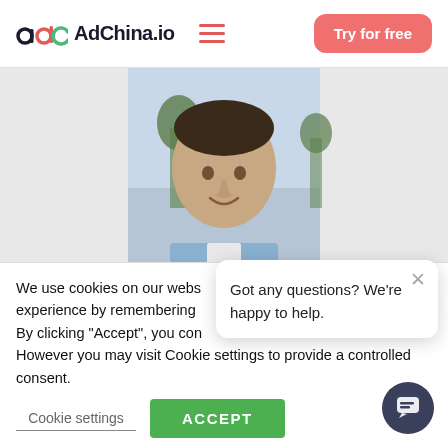AdChina.io — Try for free
[Figure (photo): Headshot of a young man in a light blue suit against an outdoor background with trees]
We use cookies on our webs experience by remembering By clicking "Accept", you con However you may visit Cookie settings to provide a controlled consent.
Got any questions? We're happy to help.
Cookie settings
ACCEPT